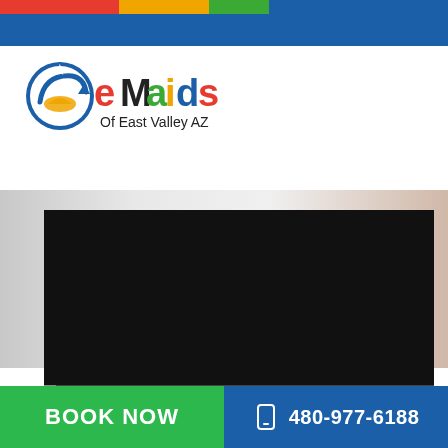[Figure (logo): eMaids Of East Valley AZ logo with circular blue/white swirl icon and colorful lettering]
[Figure (screenshot): Embedded video player showing black screen with playback controls: play button, 0:00 timestamp, volume, fullscreen, and more options icons; progress bar at bottom]
BOOK NOW
480-977-6188